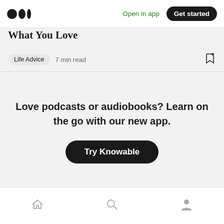Medium — Open in app | Get started
What You Love
Life Advice  7 min read
Love podcasts or audiobooks? Learn on the go with our new app.
Try Knowable
Home | Search | Profile